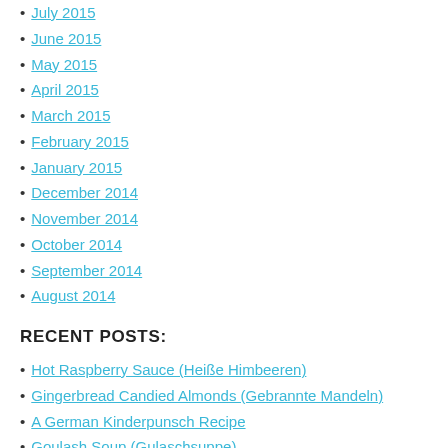July 2015
June 2015
May 2015
April 2015
March 2015
February 2015
January 2015
December 2014
November 2014
October 2014
September 2014
August 2014
RECENT POSTS:
Hot Raspberry Sauce (Heiße Himbeeren)
Gingerbread Candied Almonds (Gebrannte Mandeln)
A German Kinderpunsch Recipe
Goulash Soup (Gulaschsuppe)